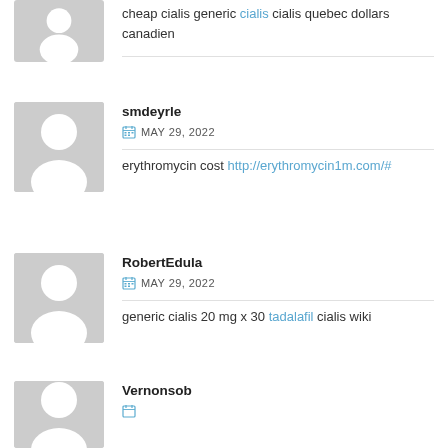[Figure (illustration): Generic user avatar placeholder (gray background with white silhouette) - top partial]
cheap cialis generic cialis cialis quebec dollars canadien
[Figure (illustration): Generic user avatar placeholder (gray background with white silhouette)]
smdeyrle
MAY 29, 2022
erythromycin cost http://erythromycin1m.com/#
[Figure (illustration): Generic user avatar placeholder (gray background with white silhouette)]
RobertEdula
MAY 29, 2022
generic cialis 20 mg x 30 tadalafil cialis wiki
[Figure (illustration): Generic user avatar placeholder (gray background with white silhouette) - bottom partial]
Vernonsob